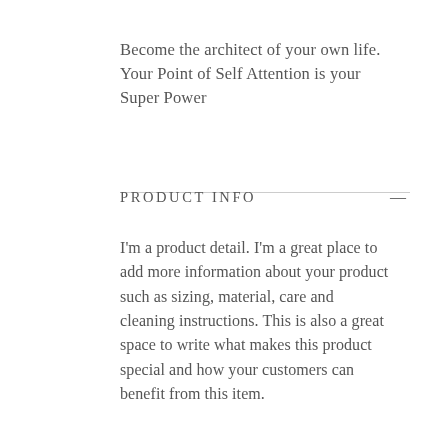Become the architect of your own life.
Your Point of Self Attention is your Super Power
PRODUCT INFO
I'm a product detail. I'm a great place to add more information about your product such as sizing, material, care and cleaning instructions. This is also a great space to write what makes this product special and how your customers can benefit from this item.